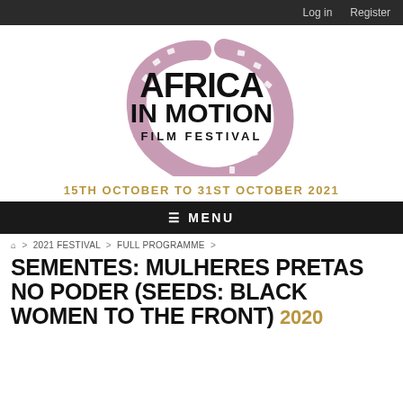Log in   Register
[Figure (logo): Africa in Motion Film Festival logo with film reel graphic in mauve/pink, bold black text reading AFRICA IN MOTION FILM FESTIVAL]
15TH OCTOBER TO 31ST OCTOBER 2021
≡ MENU
🏠 > 2021 FESTIVAL > FULL PROGRAMME >
SEMENTES: MULHERES PRETAS NO PODER (SEEDS: BLACK WOMEN TO THE FRONT) 2020